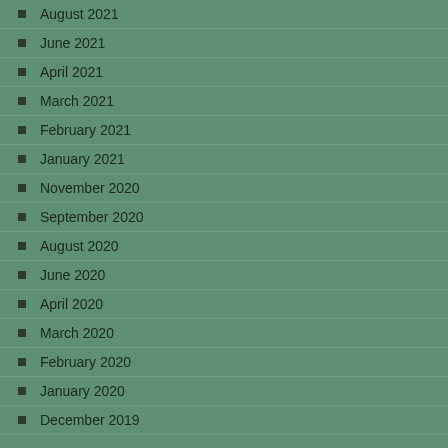August 2021
June 2021
April 2021
March 2021
February 2021
January 2021
November 2020
September 2020
August 2020
June 2020
April 2020
March 2020
February 2020
January 2020
December 2019